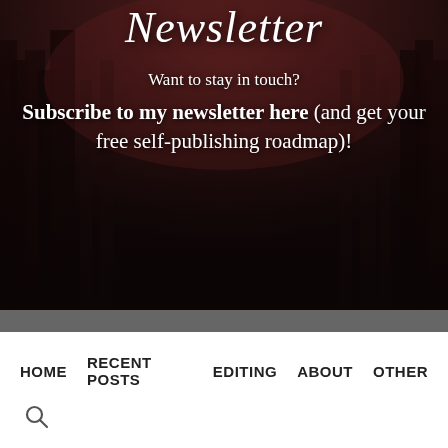[Figure (illustration): Dark forest background image with script/italic text 'Newsletter' at top and promotional text below on a dark moody background]
Want to stay in touch? Subscribe to my newsletter here (and get your free self-publishing roadmap)!
HOME  RECENT POSTS  EDITING  ABOUT  OTHER